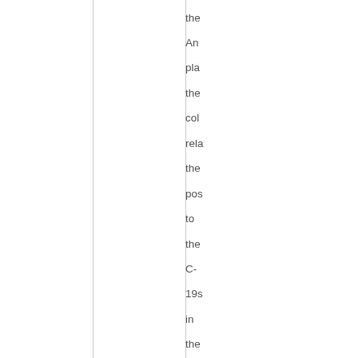the An pla the col rela the pos to the C-19s in the sky so the col be inte wit the figh infr hor